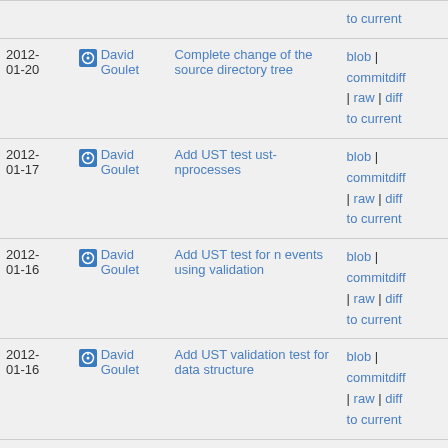| Date | Author | Commit message | Links |
| --- | --- | --- | --- |
|  |  | to current |  |
| 2012-01-20 | David Goulet | Complete change of the source directory tree | blob | commitdiff | raw | diff to current |
| 2012-01-17 | David Goulet | Add UST test ust-nprocesses | blob | commitdiff | raw | diff to current |
| 2012-01-16 | David Goulet | Add UST test for n events using validation | blob | commitdiff | raw | diff to current |
| 2012-01-16 | David Goulet | Add UST validation test for data structure | blob | commitdiff | raw | diff to current |
| 2012-01-16 | David Goulet | Add UST test binaries to gitignore | blob | commitdiff | raw | diff to current |